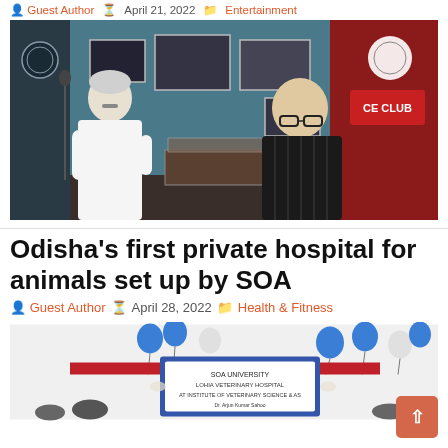Guest Author  April 21, 2022  Entertainment
[Figure (photo): Two men standing in a room decorated with framed photos. One man in white shirt with white hair and mustache, another in black striped shirt wearing glasses. A display case with artifacts is visible between them. A red sign reading 'CE CLUB' is in the background.]
Odisha’s first private hospital for animals set up by SOA
Guest Author  April 28, 2022  Health & Fitness
[Figure (photo): People at an inauguration ceremony with balloons, red ribbon, and a sign board being unveiled. Blue and white balloons visible in the background.]